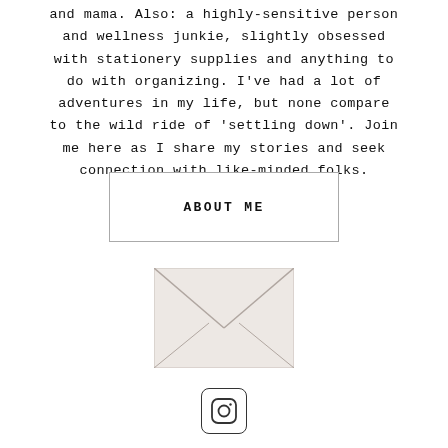and mama. Also: a highly-sensitive person and wellness junkie, slightly obsessed with stationery supplies and anything to do with organizing. I've had a lot of adventures in my life, but none compare to the wild ride of 'settling down'. Join me here as I share my stories and seek connection with like-minded folks.
ABOUT ME
[Figure (illustration): An envelope icon with a light pink/beige background and a V-shaped flap line in grey, representing email or contact.]
[Figure (logo): Instagram icon — rounded square with camera outline inside, inside a rounded-rectangle button border.]